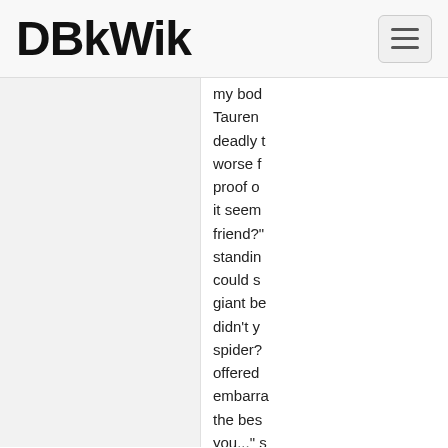DBkWik
my bod Tauren deadly t worse f proof of it seem friend?' standin could s giant be didn't y spider? offered embarra the bes you..." s would n to Cara
Arachn
Arachn